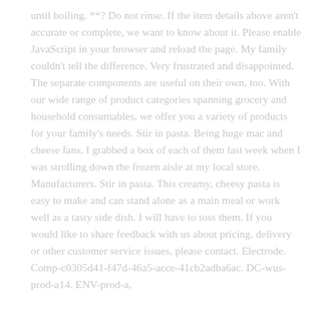until boiling. **? Do not rinse. If the item details above aren't accurate or complete, we want to know about it. Please enable JavaScript in your browser and reload the page. My family couldn't tell the difference. Very frustrated and disappointed. The separate components are useful on their own, too. With our wide range of product categories spanning grocery and household consumables, we offer you a variety of products for your family's needs. Stir in pasta. Being huge mac and cheese fans, I grabbed a box of each of them last week when I was strolling down the frozen aisle at my local store. Manufacturers. Stir in pasta. This creamy, cheesy pasta is easy to make and can stand alone as a main meal or work well as a tasty side dish. I will have to toss them. If you would like to share feedback with us about pricing, delivery or other customer service issues, please contact. Electrode. Comp-c0305d41-f47d-46a5-acce-41cb2adba6ac. DC-wus-prod-a14. ENV-prod-a,